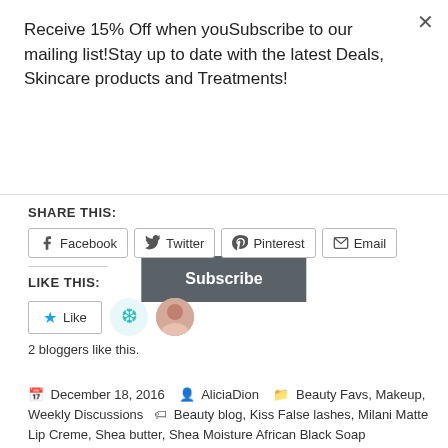Receive 15% Off when youSubscribe to our mailing list!Stay up to date with the latest Deals, Skincare products and Treatments!
Subscribe
SHARE THIS:
Facebook  Twitter  Pinterest  Email
LIKE THIS:
Like
2 bloggers like this.
December 18, 2016  AliciaDion  Beauty Favs, Makeup, Weekly Discussions  Beauty blog, Kiss False lashes, Milani Matte Lip Creme, Shea butter, Shea Moisture African Black Soap